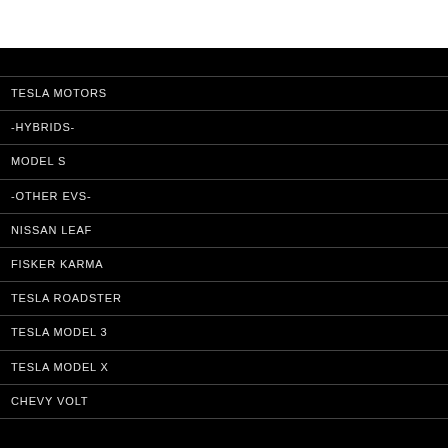TESLA MOTORS
-HYBRIDS-
MODEL S
-OTHER EVS-
NISSAN LEAF
FISKER KARMA
TESLA ROADSTER
TESLA MODEL 3
TESLA MODEL X
CHEVY VOLT